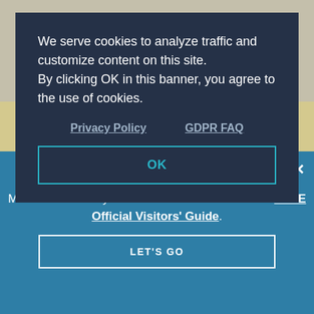[Figure (photo): Cyclists riding on a road, viewed from behind, with blue bicycles]
BACK TO
We serve cookies to analyze traffic and customize content on this site.
By clicking OK in this banner, you agree to the use of cookies.
Privacy Policy    GDPR FAQ
OK
Dream It. Do it.
Make the most of your Hawaiian vacation with our FREE Official Visitors' Guide.
LET'S GO
×